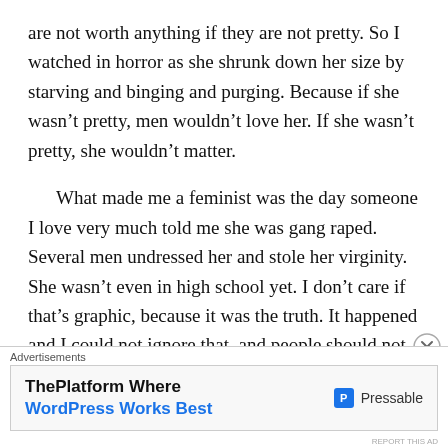are not worth anything if they are not pretty. So I watched in horror as she shrunk down her size by starving and binging and purging. Because if she wasn't pretty, men wouldn't love her. If she wasn't pretty, she wouldn't matter.
What made me a feminist was the day someone I love very much told me she was gang raped. Several men undressed her and stole her virginity. She wasn't even in high school yet. I don't care if that's graphic, because it was the truth. It happened and I could not ignore that, and people should not ignore that. Because I know more people that have been raped then people who like my favorite TV show. Because according to RAINN, someone is sexually assaulted every 98
Advertisements
ThePlatform Where WordPress Works Best — Pressable